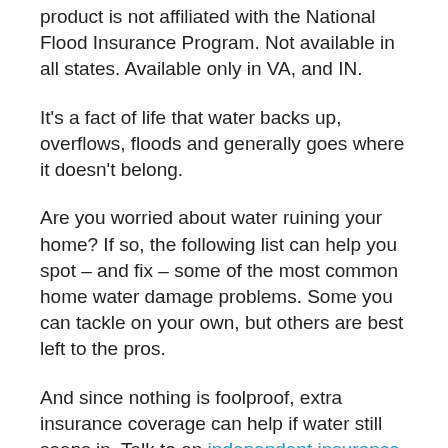product is not affiliated with the National Flood Insurance Program. Not available in all states. Available only in VA, and IN.
It's a fact of life that water backs up, overflows, floods and generally goes where it doesn't belong.
Are you worried about water ruining your home? If so, the following list can help you spot – and fix – some of the most common home water damage problems. Some you can tackle on your own, but others are best left to the pros.
And since nothing is foolproof, extra insurance coverage can help if water still seeps in. Talk to an independent insurance agent, such as your local ERIE agent, about available add-ons to your